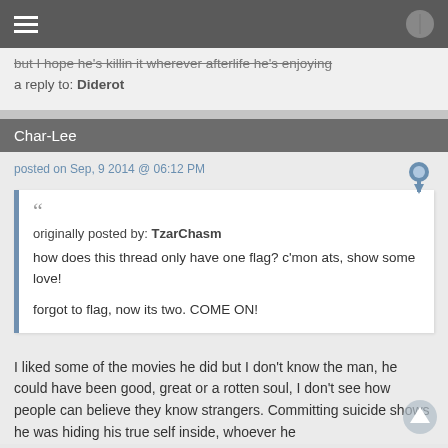Navigation bar with menu and settings icons
but I hope he's killin it wherever afterlife he's enjoying
a reply to: Diderot
Char-Lee
posted on Sep, 9 2014 @ 06:12 PM
originally posted by: TzarChasm
how does this thread only have one flag? c'mon ats, show some love!

forgot to flag, now its two. COME ON!
I liked some of the movies he did but I don't know the man, he could have been good, great or a rotten soul, I don't see how people can believe they know strangers. Committing suicide shows he was hiding his true self inside, whoever he